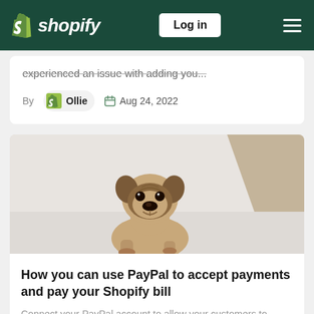Shopify - Log in
experienced an issue with adding you...
By Ollie  Aug 24, 2022
[Figure (photo): A pug dog sitting and looking at camera against a light gray/white background with a beige angular shape in the upper right]
How you can use PayPal to accept payments and pay your Shopify bill
Connect your PayPal account to allow your customers to